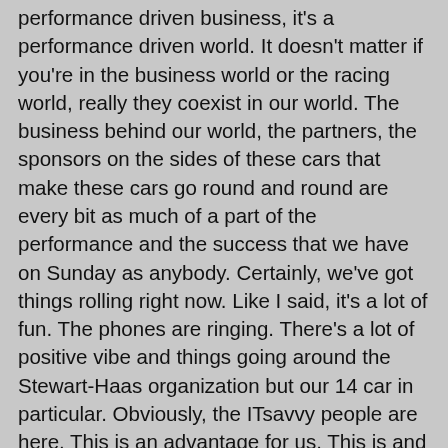performance driven business, it's a performance driven world. It doesn't matter if you're in the business world or the racing world, really they coexist in our world. The business behind our world, the partners, the sponsors on the sides of these cars that make these cars go round and round are every bit as much of a part of the performance and the success that we have on Sunday as anybody. Certainly, we've got things rolling right now. Like I said, it's a lot of fun. The phones are ringing. There's a lot of positive vibe and things going around the Stewart-Haas organization but our 14 car in particular. Obviously, the ITsavvy people are here. This is an advantage for us. This is and IT world. It's obviously a business world. Fortune 500 companies all over the place when you're looking at NASCAR. Where else can you see all of these companies in such a tight confined area than NASCAR? I remember coming to the race track and nobody even had a computer when we first started and if they did it was maybe learning how to comb the internet or something like that. Now, heck you come into the pits if the idle is off or your pit road speed is off or something like that, you're not going under the hood and looking at it, the first thing you do is wait for the IT guy to plug